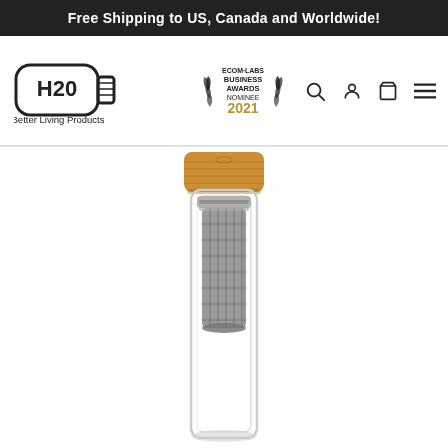Free Shipping to US, Canada and Worldwide!
[Figure (logo): H2O Better Living Products logo with water bottle icon and ECOM-LABS Business Awards Nominee 2021 badge, plus navigation icons (search, account, cart, menu)]
[Figure (photo): Double-wall glass tea infuser bottle with a bamboo lid and stainless steel mesh infuser basket inside, shown on white background]